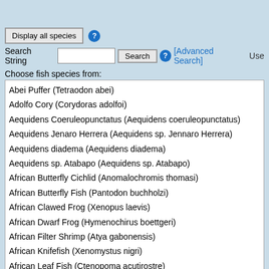Display all species
Search String  Search  [Advanced Search]  Use
Choose fish species from:
Abei Puffer (Tetraodon abei)
Adolfo Cory (Corydoras adolfoi)
Aequidens Coeruleopunctatus (Aequidens coeruleopunctatus)
Aequidens Jenaro Herrera (Aequidens sp. Jennaro Herrera)
Aequidens diadema (Aequidens diadema)
Aequidens sp. Atabapo (Aequidens sp. Atabapo)
African Butterfly Cichlid (Anomalochromis thomasi)
African Butterfly Fish (Pantodon buchholzi)
African Clawed Frog (Xenopus laevis)
African Dwarf Frog (Hymenochirus boettgeri)
African Filter Shrimp (Atya gabonensis)
African Knifefish (Xenomystus nigri)
African Leaf Fish (Ctenopoma acutirostre)
African Pipefish (Enneacampus ansorgii)
Agassiz Cory (Corydoras agassizii)
Ajamaru Rainbowfish (Melanotaenia ajamaruensis)
Albino Bristlenose Pleco (Ancistrus cf. cirrhosus)
Albino Cory (Corydoras aeneus)
Albino Tiger Barb (Puntius tetrazona)
Allens Rainbowfish (Chilatherina alleni)
Altolamprologus Calvus (Altolamprologus calvus)